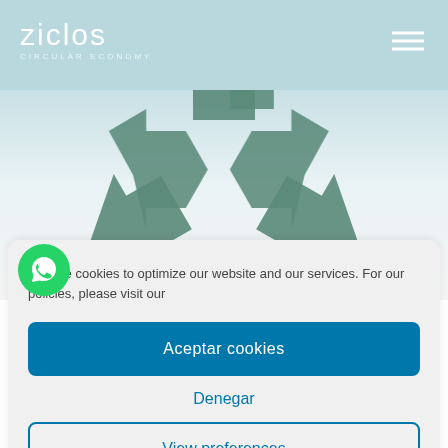[Figure (screenshot): Ziclos circular economy website screenshot showing a recycling symbol on a light blue/white background with the Ziclos logo in the header and a hamburger menu icon.]
We use cookies to optimize our website and our services. For our policies, please visit our
Aceptar cookies
Denegar
View preferences
Cookies policy  Cookies policy